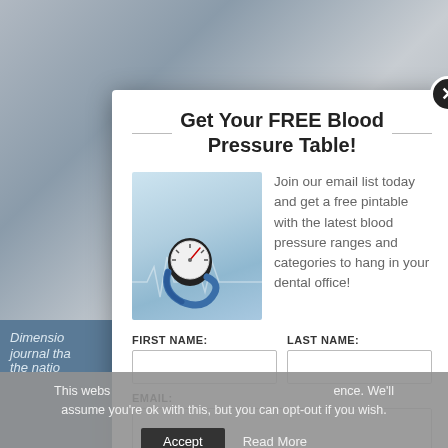[Figure (screenshot): Website popup modal over a blurred dental/health magazine background. The popup offers a free Blood Pressure Table for joining an email list. Contains a blood pressure gauge image, form fields for first name, last name, and email, and a click-to-opt-in button. A cookie consent bar is visible at the bottom.]
Get Your FREE Blood Pressure Table!
Join our email list today and get a free pintable with the latest blood pressure ranges and categories to hang in your dental office!
FIRST NAME:
LAST NAME:
EMAIL:
CLICK TO OPT-IN
Dimensio… reviewed journal tha… s with the natio…
This webs… ence. We'll assume you're ok with this, but you can opt-out if you wish.
Accept
Read More